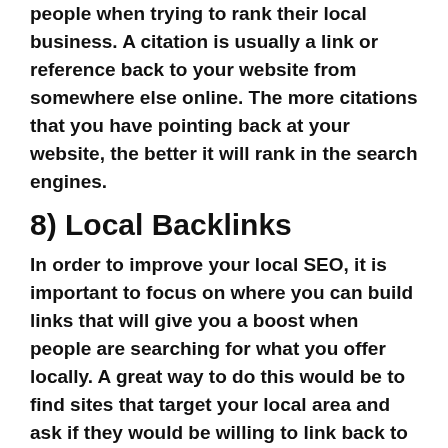people when trying to rank their local business. A citation is usually a link or reference back to your website from somewhere else online. The more citations that you have pointing back at your website, the better it will rank in the search engines.
8) Local Backlinks
In order to improve your local SEO, it is important to focus on where you can build links that will give you a boost when people are searching for what you offer locally. A great way to do this would be to find sites that target your local area and ask if they would be willing to link back to your website or even write an article about how their readers can use what you offer as well.
If you have any content that relates well with theirs, then chances are they might share it with